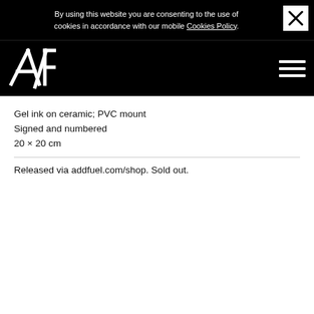By using this website you are consenting to the use of cookies in accordance with our mobile Cookies Policy.
[Figure (logo): Add Fuel logo — stylized A/F letters in white on black background]
Gel ink on ceramic; PVC mount
Signed and numbered
20 × 20 cm
Released via addfuel.com/shop. Sold out.